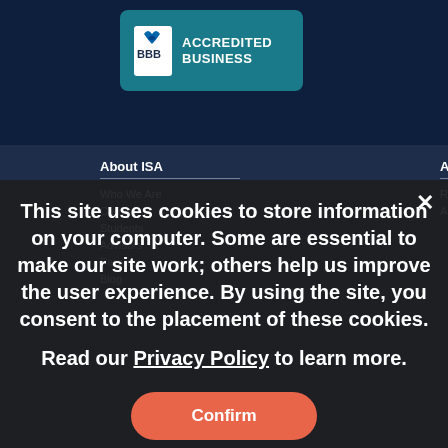[Figure (logo): BBB Accredited Business badge with teal/dark teal background, BBB flame logo on left, bold white text ACCREDITED BUSINESS on right]
About ISA
Admissions
Who We Are
Request Info
Careers
Apply Now
Students
Advisors
Parents
Blog
Countries
Argentina
Ireland
Australia
Italy
Belgium
Japan
Chile
Mexico
China
New Zealand
Colombia
Peru
This site uses cookies to store information on your computer. Some are essential to make our site work; others help us improve the user experience. By using the site, you consent to the placement of these cookies.
Read our Privacy Policy to learn more.